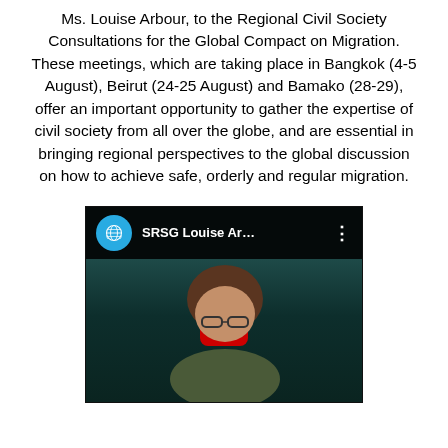Ms. Louise Arbour, to the Regional Civil Society Consultations for the Global Compact on Migration. These meetings, which are taking place in Bangkok (4-5 August), Beirut (24-25 August) and Bamako (28-29), offer an important opportunity to gather the expertise of civil society from all over the globe, and are essential in bringing regional perspectives to the global discussion on how to achieve safe, orderly and regular migration.
[Figure (screenshot): YouTube video thumbnail showing SRSG Louise Arbour speaking, with UN logo, channel name 'SRSG Louise Ar...', three-dot menu, and YouTube play button overlay]